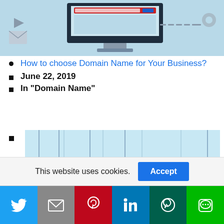[Figure (illustration): Blue-toned illustration of a computer monitor with a red address bar, surrounded by icons (play button, email, gear/settings), dashes on the right side of the screen]
How to choose Domain Name for Your Business?
June 22, 2019
In "Domain Name"
[Figure (illustration): Light blue background with hanging colored rectangular tags (navy, orange, red, blue) suspended by strings with vertical dividers, and a solid blue bar at the bottom]
This website uses cookies.
[Figure (infographic): Social media sharing bar with Twitter, Gmail, Pinterest, LinkedIn, WhatsApp, and LINE buttons]